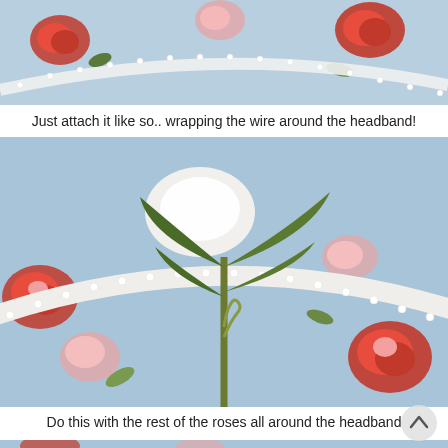[Figure (photo): Close-up photo of a floral fabric with red, pink roses on light blue background, and a white beaded headband visible at the top edge.]
Just attach it like so.. wrapping the wire around the headband!
[Figure (photo): Close-up photo showing green leaves and stem of an artificial flower being wrapped around a white pearl beaded headband, on a floral rose-print light blue fabric background.]
Do this with the rest of the roses all around the headband
[Figure (photo): Partial view of another step photo showing a headband on rose-print blue fabric background.]